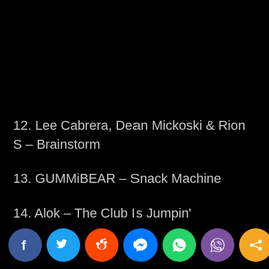12. Lee Cabrera, Dean Mickoski & Rion S – Brainstorm
13. GUMMiBEAR – Snack Machine
14. Alok – The Club Is Jumpin'
15. Andy Grammer, R3HAB – Saved My Life
[Figure (other): Social share buttons row: Facebook, Twitter, Reddit, Messenger, WhatsApp, Viber, Share]